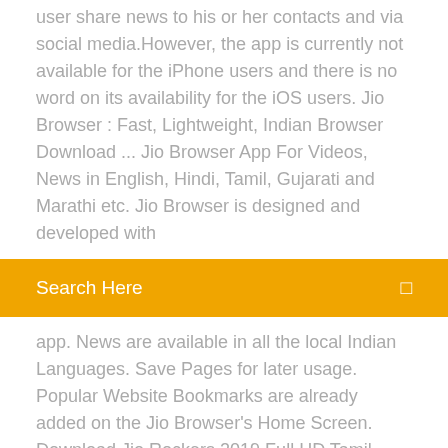user share news to his or her contacts and via social media.However, the app is currently not available for the iPhone users and there is no word on its availability for the iOS users. Jio Browser : Fast, Lightweight, Indian Browser Download ... Jio Browser App For Videos, News in English, Hindi, Tamil, Gujarati and Marathi etc. Jio Browser is designed and developed with
[Figure (screenshot): Orange search bar with text 'Search Here' and a small icon on the right]
app. News are available in all the local Indian Languages. Save Pages for later usage. Popular Website Bookmarks are already added on the Jio Browser's Home Screen. Download Jio Rockers 2019 Full HD Tamil, Telugu Movies ...
Recuperer photo sur carte sd defectueuse gratuit
Gta vice city télécharger for pc free
Comment sauvegarder les contacts sur la carte sim iphone
Com player for pc gratuit télécharger
Advanced systemcare 12 gratuit lisans kodu